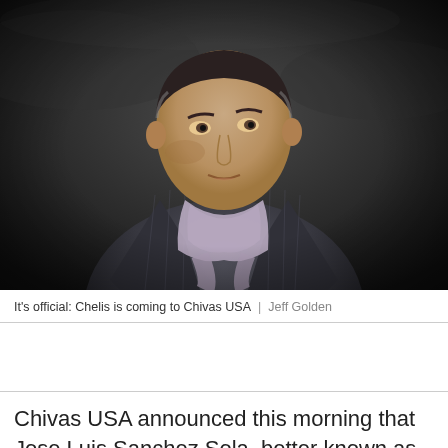[Figure (photo): Close-up photo of a middle-aged man in a dark pinstripe suit jacket with a gray/purple scarf loosely draped around his neck, looking to his right, against a dark blurred background. This is Jose Luis Sanchez Sola, known as 'Chelis'.]
It's official: Chelis is coming to Chivas USA  |  Jeff Golden
Chivas USA announced this morning that Jose Luis Sanchez Sola, better known as "Chelís," has been